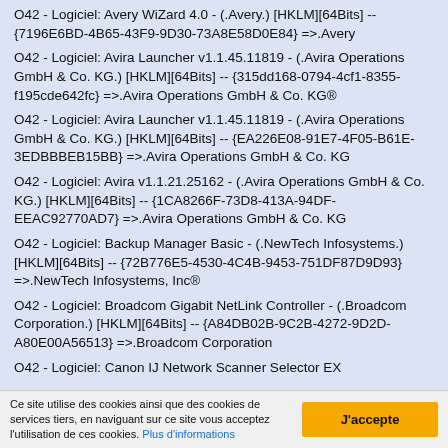O42 - Logiciel: Avery WiZard 4.0 - (.Avery.) [HKLM][64Bits] -- {7196E6BD-4B65-43F9-9D30-73A8E58D0E84} =>.Avery
O42 - Logiciel: Avira Launcher v1.1.45.11819 - (.Avira Operations GmbH & Co. KG.) [HKLM][64Bits] -- {315dd168-0794-4cf1-8355-f195cde642fc} =>.Avira Operations GmbH & Co. KG®
O42 - Logiciel: Avira Launcher v1.1.45.11819 - (.Avira Operations GmbH & Co. KG.) [HKLM][64Bits] -- {EA226E08-91E7-4F05-B61E-3EDBBBEB15BB} =>.Avira Operations GmbH & Co. KG
O42 - Logiciel: Avira v1.1.21.25162 - (.Avira Operations GmbH & Co. KG.) [HKLM][64Bits] -- {1CA8266F-73D8-413A-94DF-EEAC92770AD7} =>.Avira Operations GmbH & Co. KG
O42 - Logiciel: Backup Manager Basic - (.NewTech Infosystems.) [HKLM][64Bits] -- {72B776E5-4530-4C4B-9453-751DF87D9D93} =>.NewTech Infosystems, Inc®
O42 - Logiciel: Broadcom Gigabit NetLink Controller - (.Broadcom Corporation.) [HKLM][64Bits] -- {A84DB02B-9C2B-4272-9D2D-A80E00A56513} =>.Broadcom Corporation
O42 - Logiciel: Canon IJ Network Scanner Selector EX
Ce site utilise des cookies ainsi que des cookies de services tiers, en naviguant sur ce site vous acceptez l'utilisation de ces cookies. Plus d'informations
J'accepte